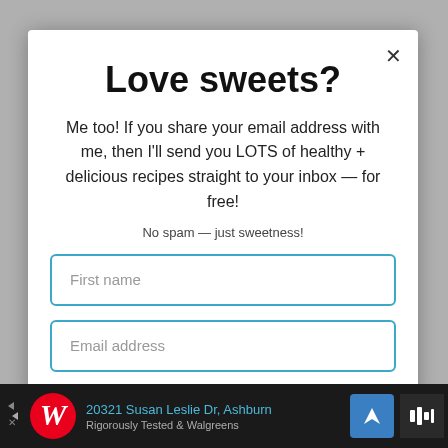Love sweets?
Me too! If you share your email address with me, then I'll send you LOTS of healthy + delicious recipes straight to your inbox — for free!
No spam — just sweetness!
First name
Email address
[Figure (screenshot): Advertisement bar at the bottom showing Walgreens ad with address '20321 Susan Leslie Dr, Ashburn' and text 'Rigorously Tested & Walgreens']